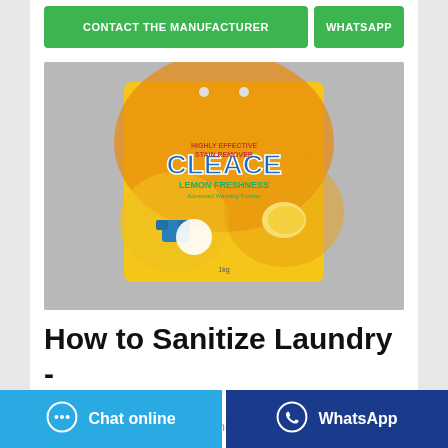[Figure (other): Two green buttons: 'CONTACT THE MANUFACTURER' and 'WHATSAPP']
[Figure (photo): A bag of Cleace Lemon Freshness laundry powder detergent, yellow and orange packaging, on a gray background]
How to Sanitize Laundry - Disinfecting Laundry For ...
May 05, 2020·It's natural to think that, once you throw
[Figure (other): Bottom bar with two buttons: 'Chat online' (blue) and 'WhatsApp' (dark blue)]